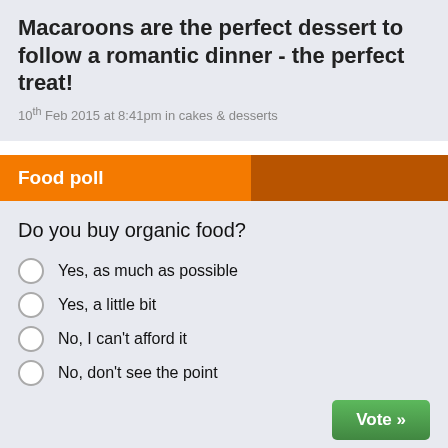Macaroons are the perfect dessert to follow a romantic dinner - the perfect treat!
10th Feb 2015 at 8:41pm in cakes & desserts
Food poll
Do you buy organic food?
Yes, as much as possible
Yes, a little bit
No, I can't afford it
No, don't see the point
Food focus